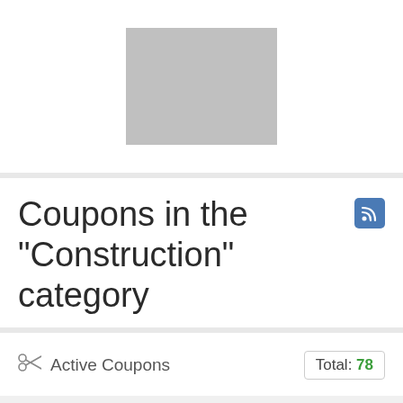[Figure (other): Gray placeholder rectangle image]
Coupons in the "Construction" category
Active Coupons   Total: 78